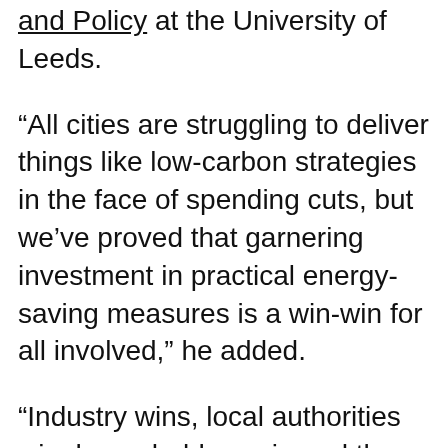and Policy at the University of Leeds.
“All cities are struggling to deliver things like low-carbon strategies in the face of spending cuts, but we’ve proved that garnering investment in practical energy-saving measures is a win-win for all involved,” he added.
“Industry wins, local authorities win, householders win and the climate wins.”
But Professor Gouldson argued that it won’t happen without some facilitation from central government and a change in the way that local authorities try and do things.
“Central government would normally fall over